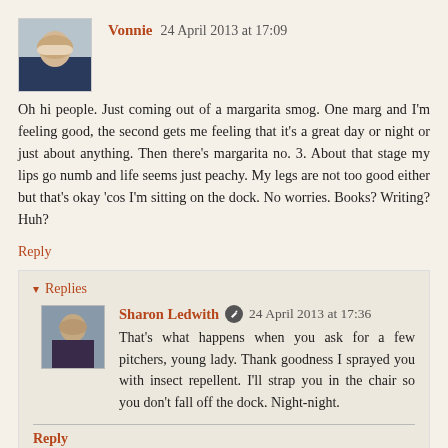Vonnie  24 April 2013 at 17:09
Oh hi people. Just coming out of a margarita smog. One marg and I'm feeling good, the second gets me feeling that it's a great day or night or just about anything. Then there's margarita no. 3. About that stage my lips go numb and life seems just peachy. My legs are not too good either but that's okay 'cos I'm sitting on the dock. No worries. Books? Writing? Huh?
Reply
Replies
Sharon Ledwith  24 April 2013 at 17:36
That's what happens when you ask for a few pitchers, young lady. Thank goodness I sprayed you with insect repellent. I'll strap you in the chair so you don't fall off the dock. Night-night.
Reply